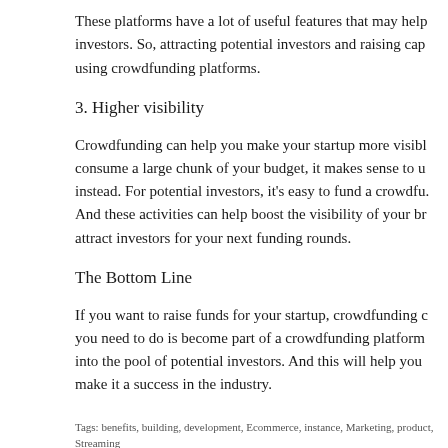These platforms have a lot of useful features that may help investors. So, attracting potential investors and raising capital using crowdfunding platforms.
3. Higher visibility
Crowdfunding can help you make your startup more visible. consume a large chunk of your budget, it makes sense to use instead. For potential investors, it's easy to fund a crowdfu. And these activities can help boost the visibility of your br. attract investors for your next funding rounds.
The Bottom Line
If you want to raise funds for your startup, crowdfunding c. you need to do is become part of a crowdfunding platform into the pool of potential investors. And this will help you make it a success in the industry.
Tags: benefits, building, development, Ecommerce, instance, Marketing, product, Streaming
Comments are closed.